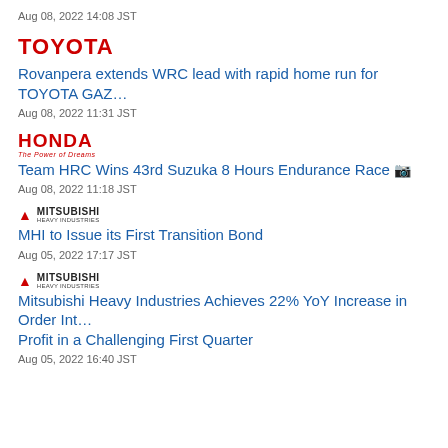Aug 08, 2022 14:08 JST
[Figure (logo): Toyota logo text in bold red]
Rovanpera extends WRC lead with rapid home run for TOYOTA GAZ...
Aug 08, 2022 11:31 JST
[Figure (logo): Honda logo with The Power of Dreams tagline in red]
Team HRC Wins 43rd Suzuka 8 Hours Endurance Race 📷
Aug 08, 2022 11:18 JST
[Figure (logo): Mitsubishi Heavy Industries logo with red three-diamond mark]
MHI to Issue its First Transition Bond
Aug 05, 2022 17:17 JST
[Figure (logo): Mitsubishi Heavy Industries logo with red three-diamond mark]
Mitsubishi Heavy Industries Achieves 22% YoY Increase in Order Int... Profit in a Challenging First Quarter
Aug 05, 2022 16:40 JST